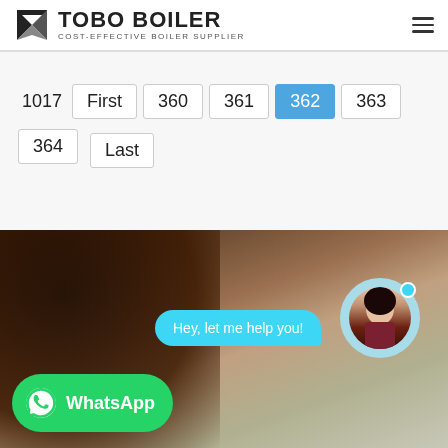TOBO BOILER COST-EFFECTIVE BOILER SUPPLIER
1017  First  360  361  362  363  364  Last
[Figure (screenshot): WhatsApp chat widget showing a woman in the background, a chat bubble saying 'Hey, let me help you!', an avatar of a woman in a light blue circle, and a green WhatsApp button at the bottom left.]